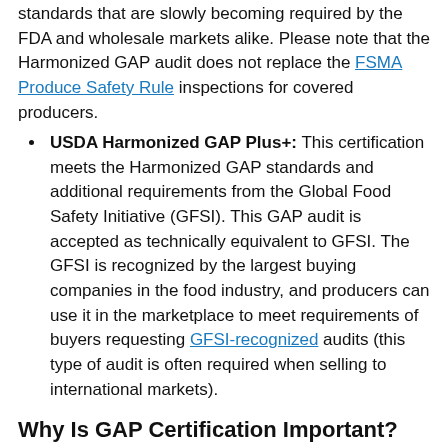standards that are slowly becoming required by the FDA and wholesale markets alike. Please note that the Harmonized GAP audit does not replace the FSMA Produce Safety Rule inspections for covered producers.
USDA Harmonized GAP Plus+: This certification meets the Harmonized GAP standards and additional requirements from the Global Food Safety Initiative (GFSI). This GAP audit is accepted as technically equivalent to GFSI. The GFSI is recognized by the largest buying companies in the food industry, and producers can use it in the marketplace to meet requirements of buyers requesting GFSI-recognized audits (this type of audit is often required when selling to international markets).
Why Is GAP Certification Important?
Market Access
There are different certifications for receiving GAP